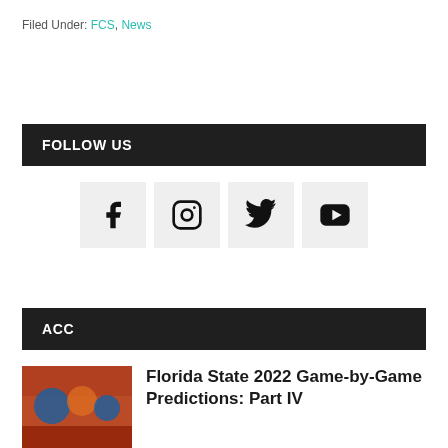Filed Under: FCS, News
FOLLOW US
[Figure (infographic): Social media icons for Facebook, Instagram, Twitter, YouTube]
ACC
[Figure (photo): Florida State football game crowd photo]
Florida State 2022 Game-by-Game Predictions: Part IV